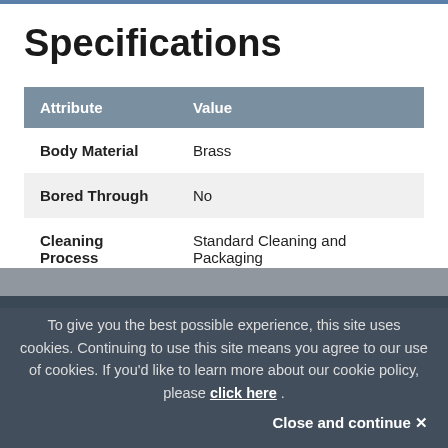Specifications
| Attribute | Value |
| --- | --- |
| Body Material | Brass |
| Bored Through | No |
| Cleaning Process | Standard Cleaning and Packaging |
To give you the best possible experience, this site uses cookies. Continuing to use this site means you agree to our use of cookies. If you’d like to learn more about our cookie policy, please click here .
Close and continue ×